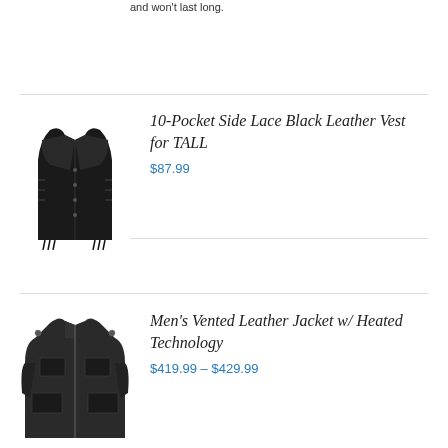and won't last long.
[Figure (photo): Black leather vest product photo]
10-Pocket Side Lace Black Leather Vest for TALL
$87.99
[Figure (photo): Men's vented leather jacket with heated technology product photo]
Men's Vented Leather Jacket w/ Heated Technology
$419.99 – $429.99